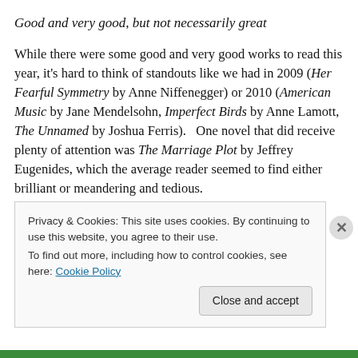Good and very good, but not necessarily great
While there were some good and very good works to read this year, it's hard to think of standouts like we had in 2009 (Her Fearful Symmetry by Anne Niffenegger) or 2010 (American Music by Jane Mendelsohn, Imperfect Birds by Anne Lamott, The Unnamed by Joshua Ferris). One novel that did receive plenty of attention was The Marriage Plot by Jeffrey Eugenides, which the average reader seemed to find either brilliant or meandering and tedious.
Privacy & Cookies: This site uses cookies. By continuing to use this website, you agree to their use.
To find out more, including how to control cookies, see here: Cookie Policy